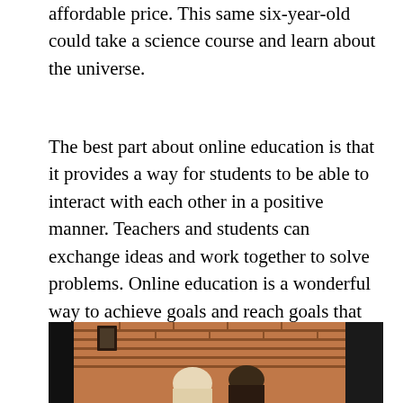affordable price. This same six-year-old could take a science course and learn about the universe.
The best part about online education is that it provides a way for students to be able to interact with each other in a positive manner. Teachers and students can exchange ideas and work together to solve problems. Online education is a wonderful way to achieve goals and reach goals that simply couldn't be accomplished within the walls of a classroom.
[Figure (photo): A photograph showing people in a room with a brick wall background, partially visible at the bottom of the page.]